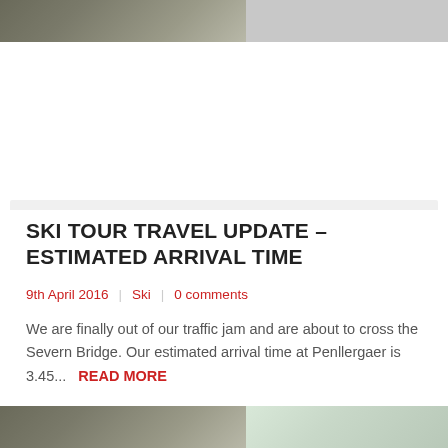[Figure (photo): Top photo strip showing an outdoor/winter scene with trees, partially cropped]
SKI TOUR TRAVEL UPDATE – ESTIMATED ARRIVAL TIME
9th April 2016  |  Ski  |  0 comments
We are finally out of our traffic jam and are about to cross the Severn Bridge. Our estimated arrival time at Penllergaer is 3.45...  READ MORE
[Figure (photo): Bottom photo strip showing an outdoor/winter scene with trees, partially cropped]